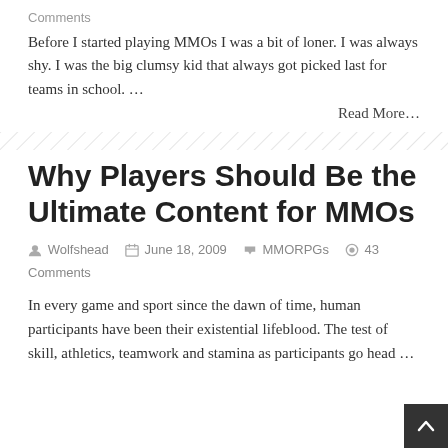Comments
Before I started playing MMOs I was a bit of loner. I was always shy. I was the big clumsy kid that always got picked last for teams in school. …
Read More…
Why Players Should Be the Ultimate Content for MMOs
Wolfshead  June 18, 2009  MMORPGs  43 Comments
In every game and sport since the dawn of time, human participants have been their existential lifeblood. The test of skill, athletics, teamwork and stamina as participants go head …